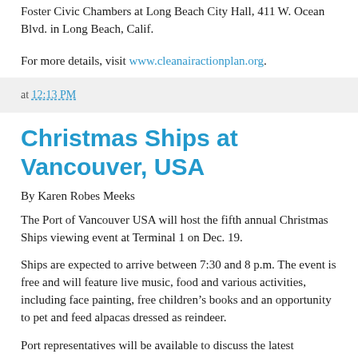Foster Civic Chambers at Long Beach City Hall, 411 W. Ocean Blvd. in Long Beach, Calif.
For more details, visit www.cleanairactionplan.org.
at 12:13 PM
Christmas Ships at Vancouver, USA
By Karen Robes Meeks
The Port of Vancouver USA will host the fifth annual Christmas Ships viewing event at Terminal 1 on Dec. 19.
Ships are expected to arrive between 7:30 and 8 p.m. The event is free and will feature live music, food and various activities, including face painting, free children's books and an opportunity to pet and feed alpacas dressed as reindeer.
Port representatives will be available to discuss the latest